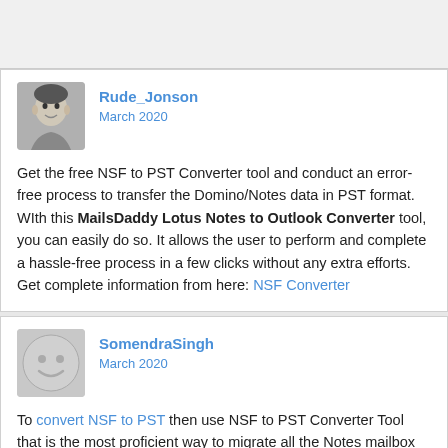Rude_Jonson
March 2020
Get the free NSF to PST Converter tool and conduct an error-free process to transfer the Domino/Notes data in PST format. WIth this MailsDaddy Lotus Notes to Outlook Converter tool, you can easily do so. It allows the user to perform and complete a hassle-free process in a few clicks without any extra efforts. Get complete information from here: NSF Converter
SomendraSingh
March 2020
To convert NSF to PST then use NSF to PST Converter Tool that is the most proficient way to migrate all the Notes mailbox data into Outlook PST format. It comes with the simple and user-friendly GUI interface and It has Auto-load & Search Mail option to adds and browses the Lotus Notes NSF mailbox